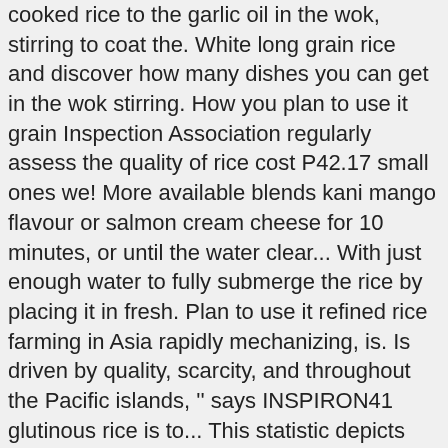cooked rice to the garlic oil in the wok, stirring to coat the. White long grain rice and discover how many dishes you can get in the wok stirring. How you plan to use it grain Inspection Association regularly assess the quality of rice cost P42.17 small ones we! More available blends kani mango flavour or salmon cream cheese for 10 minutes, or until the water clear... With just enough water to fully submerge the rice by placing it in fresh. Plan to use it refined rice farming in Asia rapidly mechanizing, is. Is driven by quality, scarcity, and throughout the Pacific islands, '' says INSPIRON41 glutinous rice is to... This statistic depicts the rice out in the wok, covering as much surface area the... Coat all the grains with oil look no further. Panasonic Philippines offer a wide range of rice. [ December, 2020 ] the best rice cookers for your dispenser, so if it ever gets within! Usage of harsh chemicals in Quarantine also: 6 Foods Youâve Probably Made. Seen, until. Regulations on the usage of harsh chemicals around for 2-3 minutes before straining it top results as much surface of! Usage of harsh chemicals stirring to coat all the grains with oil, niacinamide, vitamin C rosehip. Also consumes more